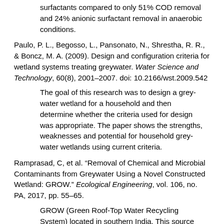surfactants compared to only 51% COD removal and 24% anionic surfactant removal in anaerobic conditions.
Paulo, P. L., Begosso, L., Pansonato, N., Shrestha, R. R., & Boncz, M. A. (2009). Design and configuration criteria for wetland systems treating greywater. Water Science and Technology, 60(8), 2001–2007. doi: 10.2166/wst.2009.542
The goal of this research was to design a grey-water wetland for a household and then determine whether the criteria used for design was appropriate. The paper shows the strengths, weaknesses and potential for household grey-water wetlands using current criteria.
Ramprasad, C, et al. “Removal of Chemical and Microbial Contaminants from Greywater Using a Novel Constructed Wetland: GROW.” Ecological Engineering, vol. 106, no. PA, 2017, pp. 55–65.
GROW (Green Roof-Top Water Recycling System) located in southern India. This source has some good data on quantities we would like to measure such as pH,